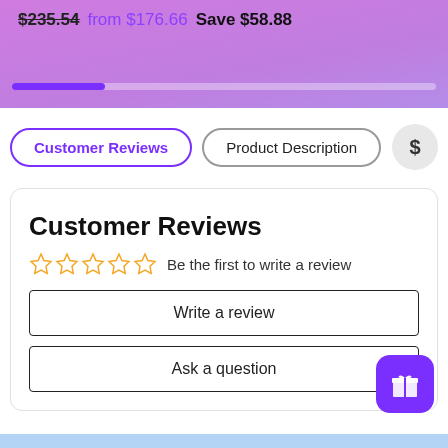$235.54  from $176.66  Save $58.88
Customer Reviews | Product Description
Customer Reviews
☆☆☆☆☆ Be the first to write a review
Write a review
Ask a question